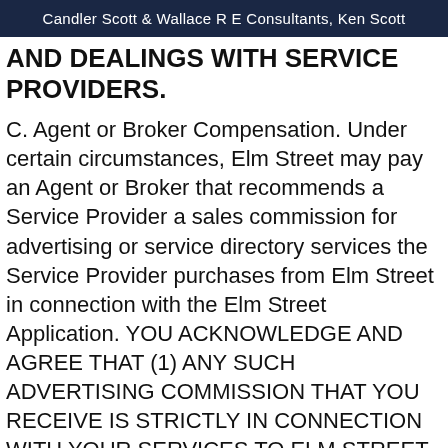Candler Scott & Wallace R E Consultants, Ken Scott
AND DEALINGS WITH SERVICE PROVIDERS.
C. Agent or Broker Compensation. Under certain circumstances, Elm Street may pay an Agent or Broker that recommends a Service Provider a sales commission for advertising or service directory services the Service Provider purchases from Elm Street in connection with the Elm Street Application. YOU ACKNOWLEDGE AND AGREE THAT (1) ANY SUCH ADVERTISING COMMISSION THAT YOU RECEIVE IS STRICTLY IN CONNECTION WITH YOUR SERVICES TO ELM STREET REGARDING SUCH ADVERTISING OR SERVICE DIRECTORY SERVICES, NOT IN CONNECTION WITH ANY REAL ESTATE TRANSACTION; (2) Elm Street may change this sales